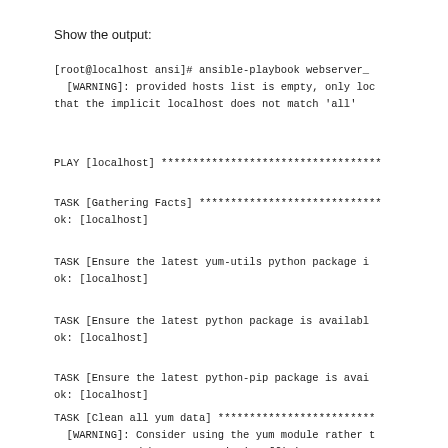Show the output:
[root@localhost ansi]# ansible-playbook webserver_
  [WARNING]: provided hosts list is empty, only loc
that the implicit localhost does not match 'all'
PLAY [localhost] ***********************************
TASK [Gathering Facts] *****************************
ok: [localhost]
TASK [Ensure the latest yum-utils python package i
ok: [localhost]
TASK [Ensure the latest python package is availabl
ok: [localhost]
TASK [Ensure the latest python-pip package is avai
ok: [localhost]
TASK [Clean all yum data] *************************
  [WARNING]: Consider using the yum module rather t
to use command because yum is insufficient you can